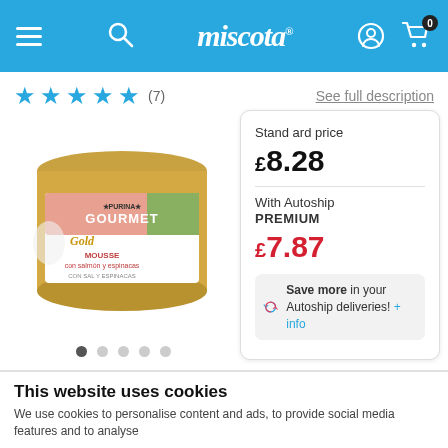miscota
★★★★★ (7)
See full description
[Figure (photo): Gourmet Gold cat food tin - mousse with salmon and spinach]
Standard price £8.28
With Autoship PREMIUM £7.87
Save more in your Autoship deliveries! + info
Weight
This website uses cookies
We use cookies to personalise content and ads, to provide social media features and to analyse